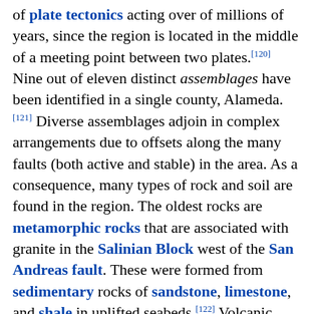of plate tectonics acting over of millions of years, since the region is located in the middle of a meeting point between two plates.[120] Nine out of eleven distinct assemblages have been identified in a single county, Alameda.[121] Diverse assemblages adjoin in complex arrangements due to offsets along the many faults (both active and stable) in the area. As a consequence, many types of rock and soil are found in the region. The oldest rocks are metamorphic rocks that are associated with granite in the Salinian Block west of the San Andreas fault. These were formed from sedimentary rocks of sandstone, limestone, and shale in uplifted seabeds.[122] Volcanic deposits also exist in the Bay Area, left behind by the movement of the San Andreas fault, whose movement sliced a subduction plate and allowed magma to briefly flow to the surface.[123]